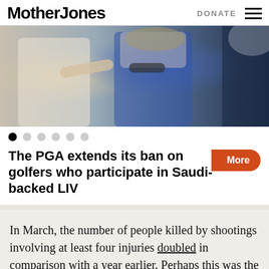Mother Jones | DONATE
[Figure (photo): Photo of people at what appears to be a golf tournament or outdoor event; a person in a white shirt appears to be pointing at another person wearing a blue outfit with sunglasses around their neck.]
The PGA extends its ban on golfers who participate in Saudi-backed LIV
In March, the number of people killed by shootings involving at least four injuries doubled in comparison with a year earlier. Perhaps this was the result of the lag time due to lockdowns rolling out at